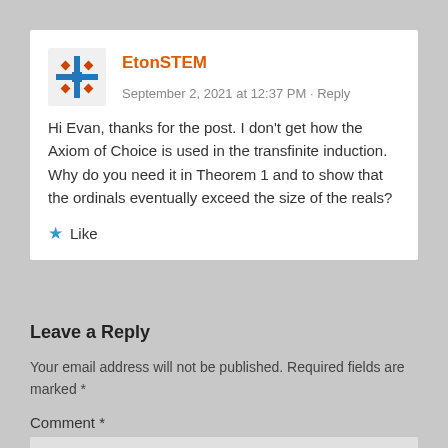[Figure (logo): EtonSTEM avatar/logo — blue and orange geometric snowflake-like pattern]
EtonSTEM   September 2, 2021 at 12:37 PM · Reply
Hi Evan, thanks for the post. I don't get how the Axiom of Choice is used in the transfinite induction. Why do you need it in Theorem 1 and to show that the ordinals eventually exceed the size of the reals?
★ Like
Leave a Reply
Your email address will not be published. Required fields are marked *
Comment *